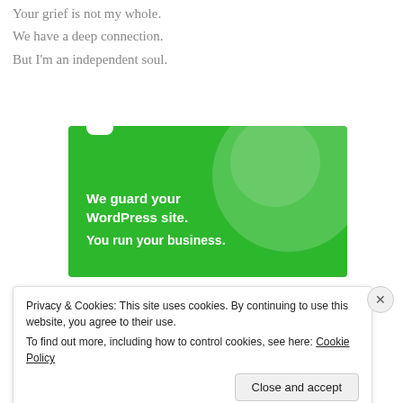Your grief is not my whole.
We have a deep connection.
But I'm an independent soul.
[Figure (illustration): Green WordPress hosting advertisement banner with circular decorative elements and a notch at top. Text reads 'We guard your WordPress site. You run your business.']
Privacy & Cookies: This site uses cookies. By continuing to use this website, you agree to their use.
To find out more, including how to control cookies, see here: Cookie Policy
Close and accept